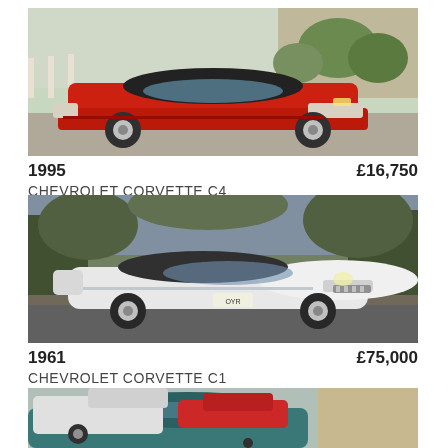[Figure (photo): Red 1995 Chevrolet Corvette C4 convertible parked on gravel with fence and trees in background]
1995    £16,750
CHEVROLET CORVETTE C4
[Figure (photo): White 1961 Chevrolet Corvette C1 classic car parked on road with trees in background]
1961    £75,000
CHEVROLET CORVETTE C1
[Figure (photo): Teal/green Chevrolet Corvette partially visible in foreground, white pickup truck and red car in background, parking lot setting]